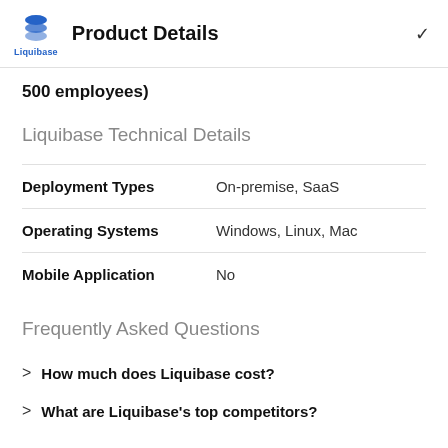Product Details
500 employees)
Liquibase Technical Details
|  |  |
| --- | --- |
| Deployment Types | On-premise, SaaS |
| Operating Systems | Windows, Linux, Mac |
| Mobile Application | No |
Frequently Asked Questions
How much does Liquibase cost?
What are Liquibase's top competitors?